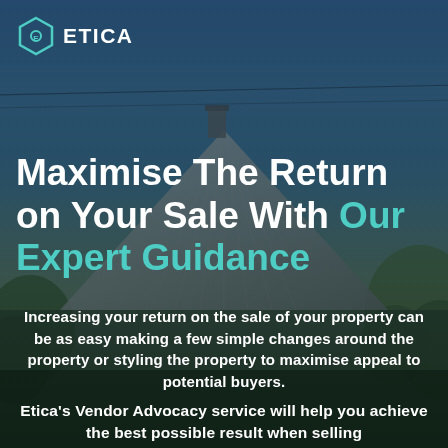[Figure (photo): Aerial/angled view of a house rooftop with grey metal roof and chimney against a blue sky with trees in the background, overlaid with a dark semi-transparent tint]
Maximise The Return on Your Sale With Our Expert Guidance
Increasing your return on the sale of your property can be as easy making a few simple changes around the property or styling the property to maximise appeal to potential buyers.
Etica's Vendor Advocacy service will help you achieve the best possible result when selling